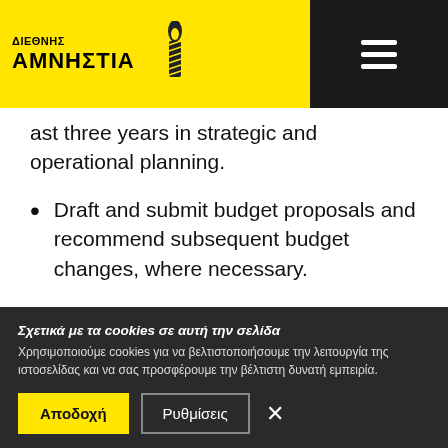ΔΙΕΘΝΗΣ ΑΜΝΗΣΤΙΑ [logo with candle] [hamburger menu]
ast three years in strategic and operational planning.
Draft and submit budget proposals and recommend subsequent budget changes, where necessary.
Fluent Greek and English is essential, additional languages are an advantage.
EQUALITY STATEMENT
Equality and diversity are at the core of Amnesty International values and staff are expected to work
Σχετικά με τα cookies σε αυτή την σελίδα
Χρησιμοποιούμε cookies για να βελτιστοποιήσουμε την λειτουργία της ιστοσελίδας και να σας προσφέρουμε την βέλτιστη δυνατή εμπειρία.
Αποδοχή  Ρυθμίσεις  ×